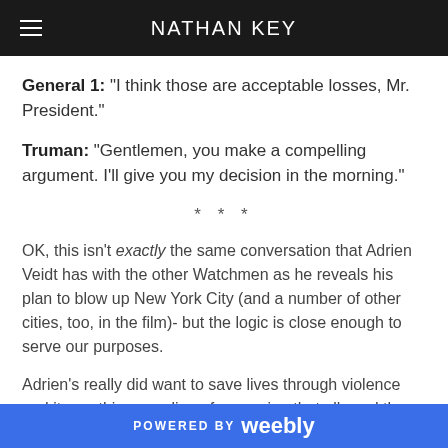NATHAN KEY
General 1: "I think those are acceptable losses, Mr. President."
Truman: "Gentlemen, you make a compelling argument. I'll give you my decision in the morning."
* * *
OK, this isn't exactly the same conversation that Adrien Veidt has with the other Watchmen as he reveals his plan to blow up New York City (and a number of other cities, too, in the film)- but the logic is close enough to serve our purposes.
Adrien's really did want to save lives through violence and it was this same line of reasoning that allowed the United States to drop nuclear weapons on the cities of Hiroshima and Nagasaki in Japan. So when we finish reading (or watching) Watchmen...
POWERED BY weebly